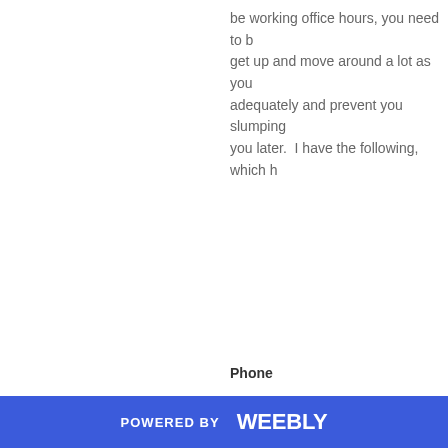be working office hours, you need to b… get up and move around a lot as you adequately and prevent you slumping you later.  I have the following, which h…
Phone
When you are working from home typi… have a separate line specifically for yo…
POWERED BY weebly